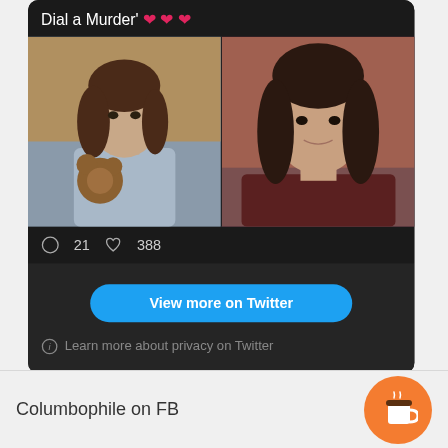[Figure (screenshot): Twitter/X embed card showing a post titled "Dial a Murder'" with three red heart emojis, two side-by-side film stills of women, comment count 21 and like count 388, a 'View more on Twitter' blue button, and a privacy notice.]
Columbophile on FB